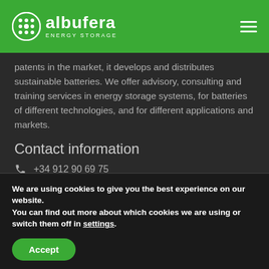albufera ENERGY STORAGE
patents in the market, it develops and distributes sustainable batteries. We offer advisory, consulting and training services in energy storage systems, for batteries of different technologies, and for different applications and markets.
Contact information
+34 912 90 69 75
info@albufera-energystorage.com
(partially visible/faded contact line)
We are using cookies to give you the best experience on our website.
You can find out more about which cookies we are using or switch them off in settings.
Accept